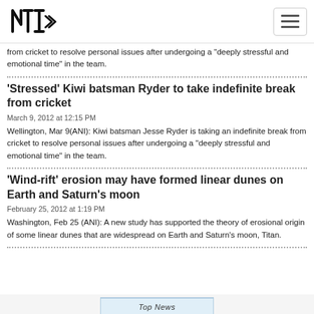NTI logo and navigation menu
from cricket to resolve personal issues after undergoing a "deeply stressful and emotional time" in the team.
'Stressed' Kiwi batsman Ryder to take indefinite break from cricket
March 9, 2012 at 12:15 PM
Wellington, Mar 9(ANI): Kiwi batsman Jesse Ryder is taking an indefinite break from cricket to resolve personal issues after undergoing a "deeply stressful and emotional time" in the team.
'Wind-rift' erosion may have formed linear dunes on Earth and Saturn's moon
February 25, 2012 at 1:19 PM
Washington, Feb 25 (ANI): A new study has supported the theory of erosional origin of some linear dunes that are widespread on Earth and Saturn's moon, Titan.
Top News